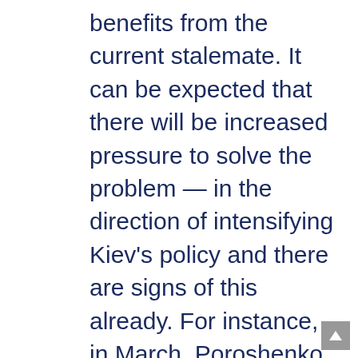benefits from the current stalemate. It can be expected that there will be increased pressure to solve the problem — in the direction of intensifying Kiev's policy and there are signs of this already. For instance, in March, Poroshenko decided to formally recognize the grassroots blockade by veterans and nationalists of trade with the occupied territories, which has been taking place since